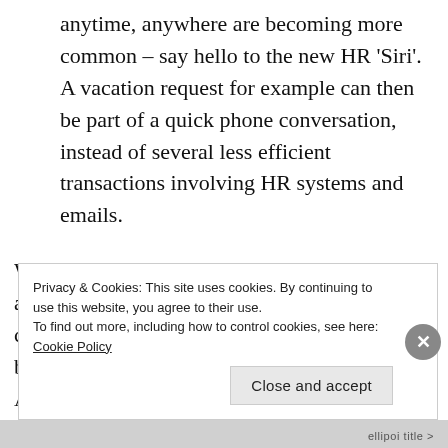anytime, anywhere are becoming more common – say hello to the new HR 'Siri'. A vacation request for example can then be part of a quick phone conversation, instead of several less efficient transactions involving HR systems and emails.
What we are observing, is that AI technologies are becoming fully embedded within the HR community. The initial doubts and fears have been overcome by most HR professionals and AI is recognized as a real added value to the employee. The HR operating model
Privacy & Cookies: This site uses cookies. By continuing to use this website, you agree to their use.
To find out more, including how to control cookies, see here: Cookie Policy